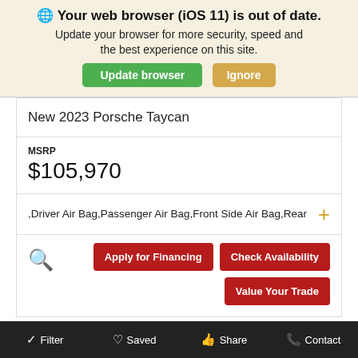🌐 Your web browser (iOS 11) is out of date.
Update your browser for more security, speed and the best experience on this site.
New 2023 Porsche Taycan
MSRP $105,970
,Driver Air Bag,Passenger Air Bag,Front Side Air Bag,Rear
Apply for Financing | Check Availability | Value Your Trade
Filter | Saved | Share | Contact